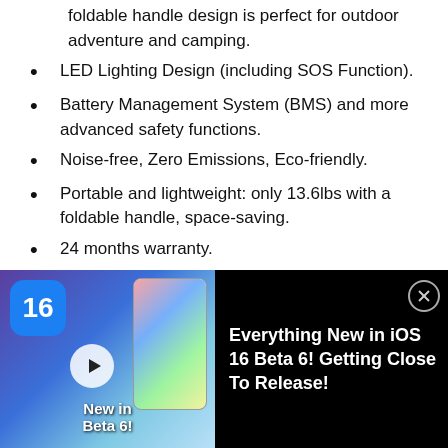foldable handle design is perfect for outdoor adventure and camping.
LED Lighting Design (including SOS Function).
Battery Management System (BMS) and more advanced safety functions.
Noise-free, Zero Emissions, Eco-friendly.
Portable and lightweight: only 13.6lbs with a foldable handle, space-saving.
24 months warranty.
Technical specification
| Output |  |  |
| --- | --- | --- |
| Rated voltage | 100-120Vac | 220-240Vac |
[Figure (screenshot): Advertisement overlay: iOS 16 Beta 6 video thumbnail with text 'Everything New in iOS 16 Beta 6! Getting Close To Release!']